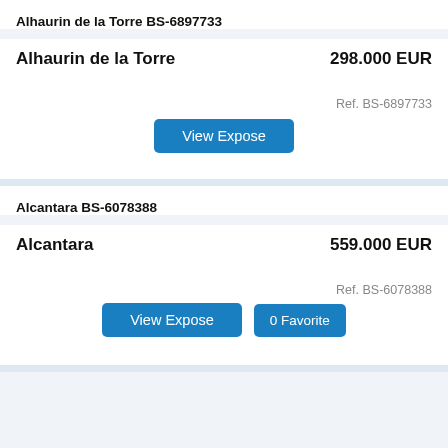Alhaurin de la Torre BS-6897733
Alhaurin de la Torre
298.000 EUR
Ref. BS-6897733
View Expose
Alcantara BS-6078388
Alcantara
559.000 EUR
Ref. BS-6078388
View Expose
0 Favorite